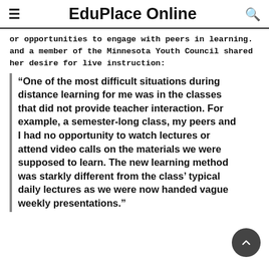EduPlace Online
or opportunities to engage with peers in learning. and a member of the Minnesota Youth Council shared her desire for live instruction:
“One of the most difficult situations during distance learning for me was in the classes that did not provide teacher interaction. For example, a semester-long class, my peers and I had no opportunity to watch lectures or attend video calls on the materials we were supposed to learn. The new learning method was starkly different from the class’ typical daily lectures as we were now handed vague weekly presentations.”